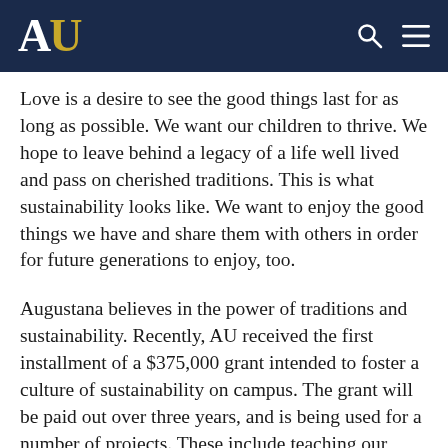AU
Love is a desire to see the good things last for as long as possible. We want our children to thrive. We hope to leave behind a legacy of a life well lived and pass on cherished traditions. This is what sustainability looks like. We want to enjoy the good things we have and share them with others in order for future generations to enjoy, too.
Augustana believes in the power of traditions and sustainability. Recently, AU received the first installment of a $375,000 grant intended to foster a culture of sustainability on campus. The grant will be paid out over three years, and is being used for a number of projects. These include teaching our students, faculty and staff to make better use of our natural resources, informing and